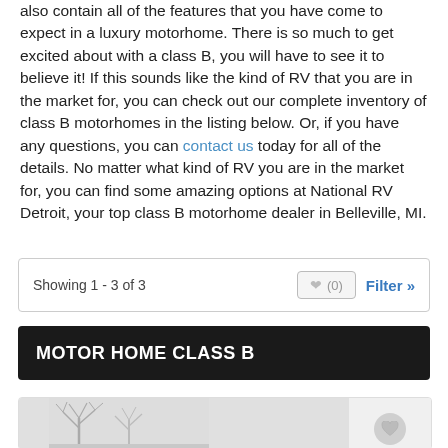also contain all of the features that you have come to expect in a luxury motorhome. There is so much to get excited about with a class B, you will have to see it to believe it! If this sounds like the kind of RV that you are in the market for, you can check out our complete inventory of class B motorhomes in the listing below. Or, if you have any questions, you can contact us today for all of the details. No matter what kind of RV you are in the market for, you can find some amazing options at National RV Detroit, your top class B motorhome dealer in Belleville, MI.
Showing 1 - 3 of 3
MOTOR HOME CLASS B
[Figure (photo): Partial view of a motorhome listing card showing a winter scene with bare trees in the background and a heart/favorite icon overlay]